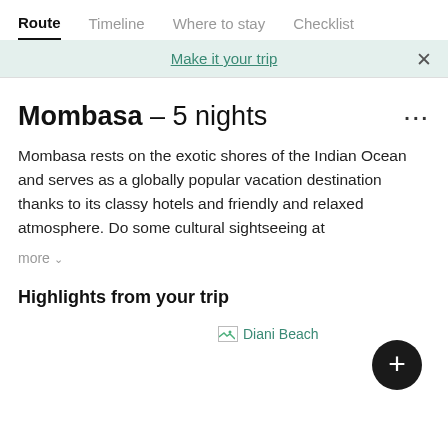Route  Timeline  Where to stay  Checklist
Make it your trip
Mombasa – 5 nights
Mombasa rests on the exotic shores of the Indian Ocean and serves as a globally popular vacation destination thanks to its classy hotels and friendly and relaxed atmosphere. Do some cultural sightseeing at
more ∨
Highlights from your trip
[Figure (screenshot): Diani Beach image placeholder with broken image icon and teal text label 'Diani Beach']